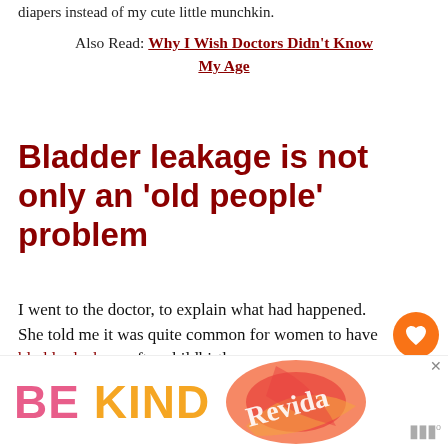diapers instead of my cute little munchkin.
Also Read: Why I Wish Doctors Didn't Know My Age
Bladder leakage is not only an 'old people' problem
I went to the doctor, to explain what had happened. She told me it was quite common for women to have bladder leakage after childbirth.
“How long does it last?” I asked.
[Figure (infographic): BE KIND advertisement banner with stylized text and decorative graphic, with close button marked x]
“It said, but most